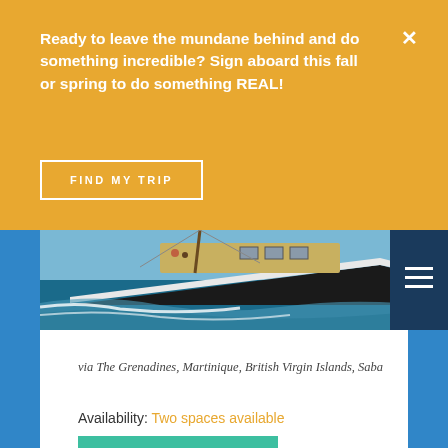Ready to leave the mundane behind and do something incredible? Sign aboard this fall or spring to do something REAL!
FIND MY TRIP
[Figure (photo): A large sailing vessel/sailboat photographed from the side, moving through blue water with white wake, wooden mast and rigging visible]
FALL 2022
Antigua to Grenada
via The Grenadines, Martinique, British Virgin Islands, Saba
Availability: Two spaces available